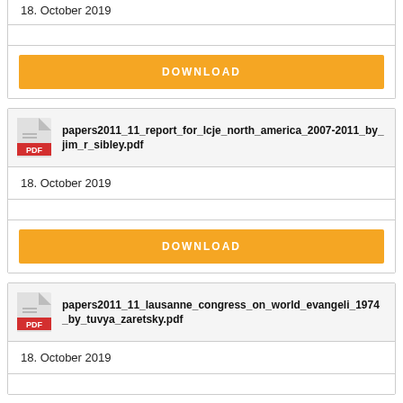18. October 2019
DOWNLOAD
papers2011_11_report_for_lcje_north_america_2007-2011_by_jim_r_sibley.pdf
18. October 2019
DOWNLOAD
papers2011_11_lausanne_congress_on_world_evangeli_1974_by_tuvya_zaretsky.pdf
18. October 2019